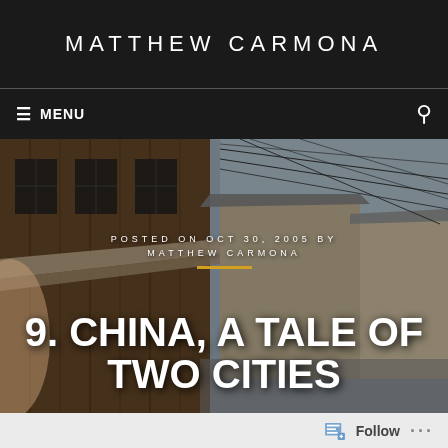MATTHEW CARMONA
≡ MENU
[Figure (photo): Street scene in China showing traditional wooden buildings, overhead power lines, and a narrow alleyway with people and laundry.]
POSTED ON OCT 30, 2005 BY MATTHEW CARMONA
9. CHINA, A TALE OF TWO CITIES
Follow ...